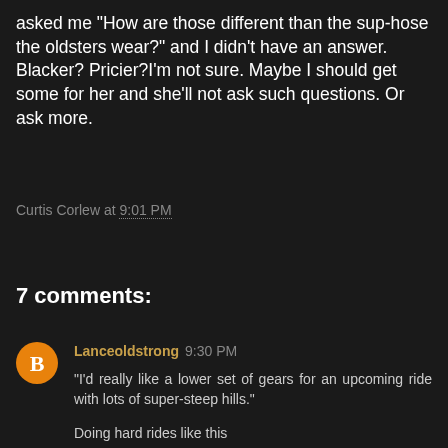asked me "How are those different than the sup-hose the oldsters wear?" and I didn't have an answer. Blacker? Pricier?I'm not sure. Maybe I should get some for her and she'll not ask such questions. Or ask more.
Curtis Corlew at 9:01 PM
Share
7 comments:
Lanceoldstrong 9:30 PM
"I'd really like a lower set of gears for an upcoming ride with lots of super-steep hills."
Doing hard rides like this
Means committing 100% percent to breakfast.